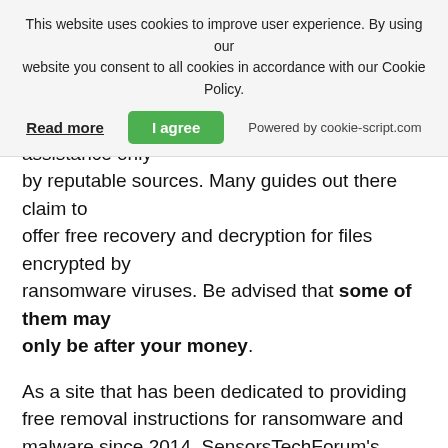This website uses cookies to improve user experience. By using our website you consent to all cookies in accordance with our Cookie Policy.
Read more | I agree | Powered by cookie-script.com
that all malware victims should look for assistance only by reputable sources. Many guides out there claim to offer free recovery and decryption for files encrypted by ransomware viruses. Be advised that some of them may only be after your money.
As a site that has been dedicated to providing free removal instructions for ransomware and malware since 2014, SensorsTechForum's recommendation is to only pay attention to trustworthy sources.
How to recognize trustworthy sources:
Always check "About Us" web page.
Profile of the content creator.
Make sure that real people are behind the site